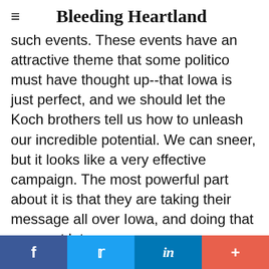Bleeding Heartland
such events. These events have an attractive theme that some politico must have thought up--that Iowa is just perfect, and we should let the Koch brothers tell us how to unleash our incredible potential. We can sneer, but it looks like a very effective campaign. The most powerful part about it is that they are taking their message all over Iowa, and doing that now, not later.
It would seem to us that the right candidate